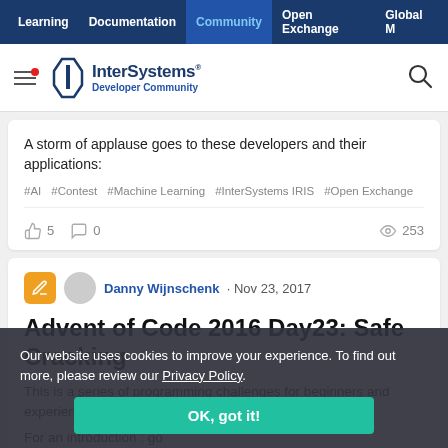Learning | Documentation | Community | Open Exchange | Global M
[Figure (logo): InterSystems Developer Community logo with hamburger menu and search icon]
A storm of applause goes to these developers and their applications:
#AI #Contest #Machine Learning #InterSystems IRIS #Open Exchange
👍 5   💬 0   👁 253
Danny Wijnschenk · Nov 23, 2017
Advent of Code 2016 Day23: Safe Cracking
This is a series of programming challenges for beginners and experienced Caché programmers.
For an introduction : go to
https://community.intersystems.com/post/adventcodes
Our website uses cookies to improve your experience. To find out more, please review our Privacy Policy.
OK, got it!